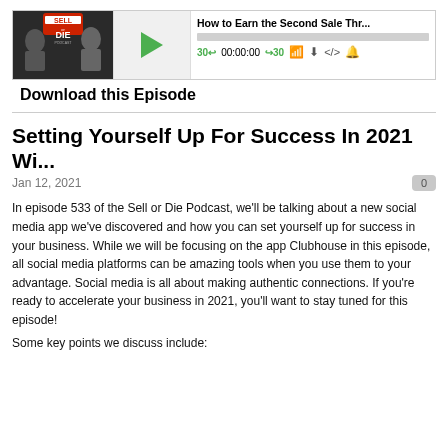[Figure (screenshot): Sell or Die Podcast audio player widget showing episode title 'How to Earn the Second Sale Thr...' with play button, progress bar, time controls (30 back, 00:00:00, forward 30), and icons for cast, download, embed, and notifications.]
Download this Episode
Setting Yourself Up For Success In 2021 Wi...
Jan 12, 2021
In episode 533 of the Sell or Die Podcast, we'll be talking about a new social media app we've discovered and how you can set yourself up for success in your business. While we will be focusing on the app Clubhouse in this episode, all social media platforms can be amazing tools when you use them to your advantage. Social media is all about making authentic connections. If you're ready to accelerate your business in 2021, you'll want to stay tuned for this episode!
Some key points we discuss include: